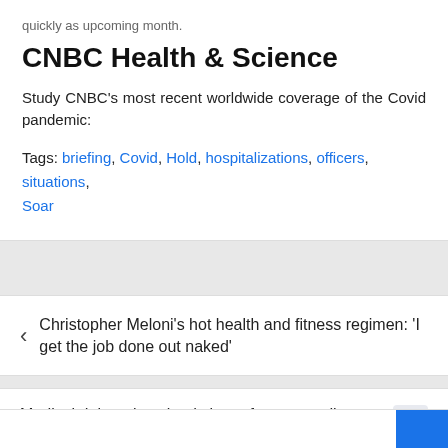quickly as upcoming month.
CNBC Health & Science
Study CNBC's most recent worldwide coverage of the Covid pandemic:
Tags: briefing, Covid, Hold, hospitalizations, officers, situations, Soar
Christopher Meloni's hot health and fitness regimen: 'I get the job done out naked'
Medical debt to be wiped clear of many credit reports